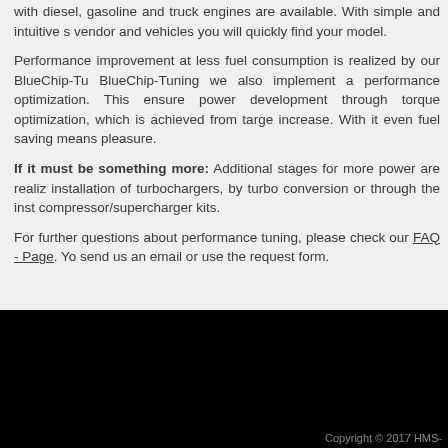with diesel, gasoline and truck engines are available. With simple and intuitive s vendor and vehicles you will quickly find your model.
Performance improvement at less fuel consumption is realized by our BlueChip-Tu BlueChip-Tuning we also implement a performance optimization. This ensure power development through torque optimization, which is achieved from targe increase. With it even fuel saving means pleasure.
If it must be something more: Additional stages for more power are realiz installation of turbochargers, by turbo conversion or through the inst compressor/supercharger kits.
For further questions about performance tuning, please check our FAQ - Page. Yo send us an email or use the request form.
Copyright © 2017 HMS-